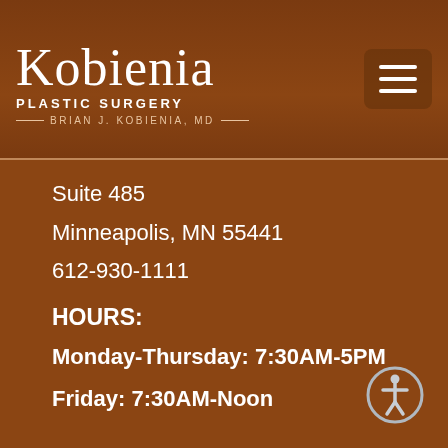Kobienia Plastic Surgery — Brian J. Kobienia, MD
Suite 485
Minneapolis, MN 55441
612-930-1111
HOURS:
Monday-Thursday: 7:30AM-5PM
Friday: 7:30AM-Noon
[Figure (illustration): Accessibility icon: circle with human figure silhouette]